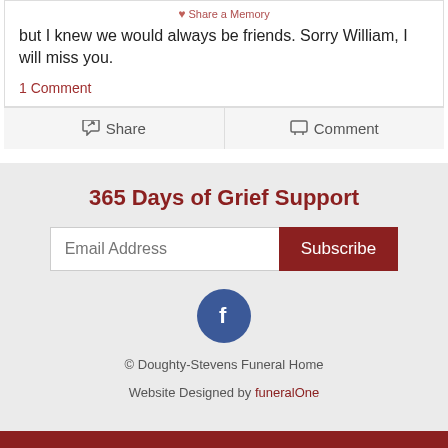but I knew we would always be friends. Sorry William, I will miss you.
1 Comment
Share
Comment
365 Days of Grief Support
Email Address
Subscribe
[Figure (logo): Facebook icon - blue circle with white f letter]
© Doughty-Stevens Funeral Home
Website Designed by funeralOne
CONTACT | OBITUARIES | ABOUT | STORE